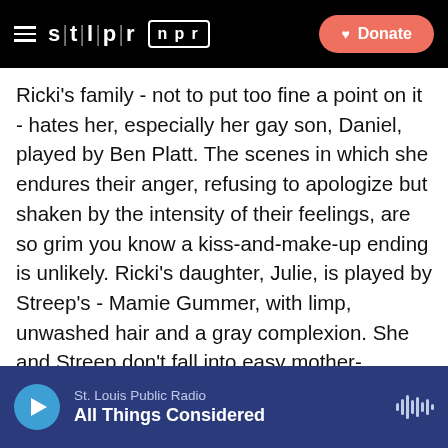STLPR | NPR — Donate
Ricki's family - not to put too fine a point on it - hates her, especially her gay son, Daniel, played by Ben Platt. The scenes in which she endures their anger, refusing to apologize but shaken by the intensity of their feelings, are so grim you know a kiss-and-make-up ending is unlikely. Ricki's daughter, Julie, is played by Streep's - Mamie Gummer, with limp, unwashed hair and a gray complexion. She and Streep don't fall into easy mother-daughter rhythms, even in a scene where Ricki sweeps Julie off to the beauty parlor. The movie keeps its edge. Only one scene stops the metronome. Ricki and her ex and daughter smoke marijuana. She plays a song called "Cold One."
St. Louis Public Radio — All Things Considered